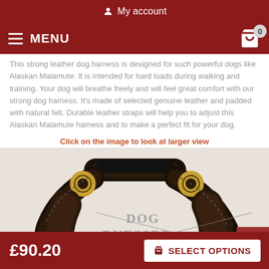My account
MENU  0
This strong leather dog harness is designed for such powerful dogs like Alaskan Malamute. It is intended for hard loads during walking and training. Your dog will breathe freely and will feel great comfort with our strong dog harness. It's made of selected genuine leather and padded with natural felt. Durable leather straps will help you to adjust this Alaskan Malamute harness and to make a perfect fit for your dog.
Click on the image to look at larger view
[Figure (photo): Close-up photo of a dark brown leather dog harness with gold buckles and a handle, showing the brand watermark 'DOG RNESSES' (partial text).]
£90.20  SELECT OPTIONS